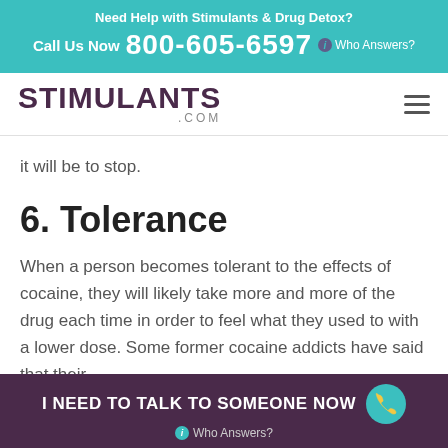Need Help with Stimulants & Drug Detox?
Call Us Now 800-605-6597 ℹ Who Answers?
[Figure (logo): STIMULANTS.COM logo with hamburger menu icon]
it will be to stop.
6. Tolerance
When a person becomes tolerant to the effects of cocaine, they will likely take more and more of the drug each time in order to feel what they used to with a lower dose. Some former cocaine addicts have said that their
I NEED TO TALK TO SOMEONE NOW ℹ Who Answers?